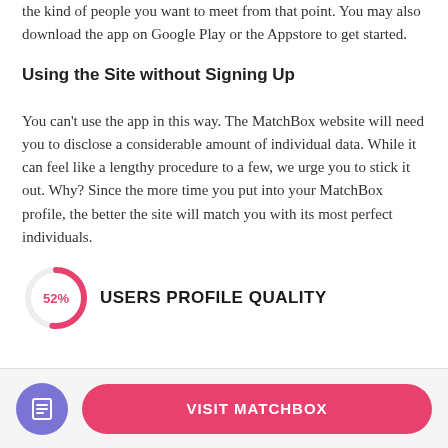the kind of people you want to meet from that point. You may also download the app on Google Play or the Appstore to get started.
Using the Site without Signing Up
You can't use the app in this way. The MatchBox website will need you to disclose a considerable amount of individual data. While it can feel like a lengthy procedure to a few, we urge you to stick it out. Why? Since the more time you put into your MatchBox profile, the better the site will match you with its most perfect individuals.
[Figure (donut-chart): Donut chart showing 52% with pink arc on white background]
USERS PROFILE QUALITY
[Figure (other): Purple circle icon with document/lines symbol]
VISIT MATCHBOX